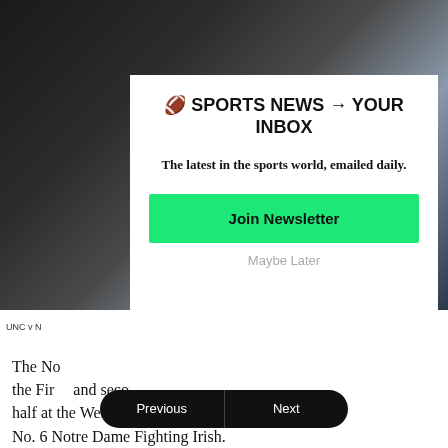[Figure (photo): Dark blurred sports photo background showing a player, mostly obscured by modal overlay]
🏈 SPORTS NEWS → YOUR INBOX
The latest in the sports world, emailed daily.
Join Newsletter
Maybe Later
UNC v N
The No... the First... and second half at the Wells Fargo Center in Philadelphia against the No. 6 Notre Dame Fighting Irish.
Previous  Next